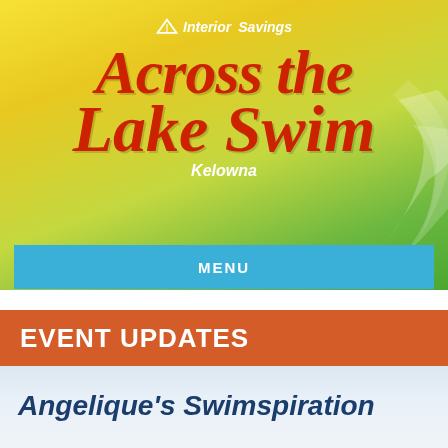[Figure (logo): Interior Savings Across the Lake Swim Kelowna logo with yellow-green gradient background, red script lettering and decorative leaf shapes]
MENU
EVENT UPDATES
Angelique's Swimspiration